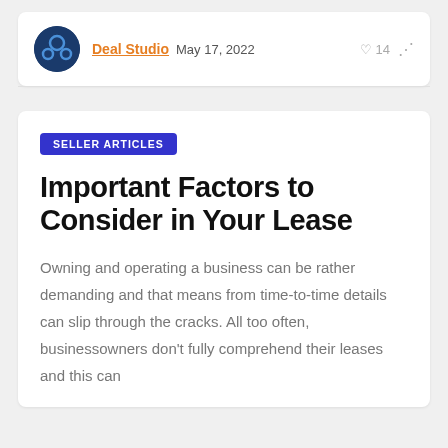Deal Studio  May 17, 2022  ♡ 14
SELLER ARTICLES
Important Factors to Consider in Your Lease
Owning and operating a business can be rather demanding and that means from time-to-time details can slip through the cracks. All too often, businessowners don't fully comprehend their leases and this can